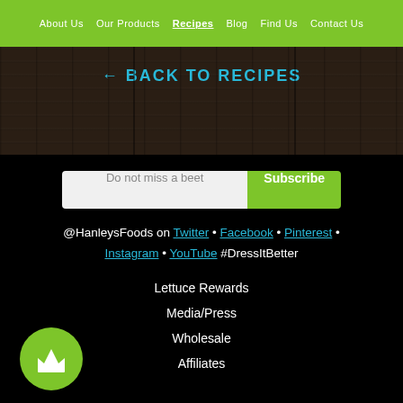About Us  Our Products  Recipes  Blog  Find Us  Contact Us
← BACK TO RECIPES
Do not miss a beet Subscribe
@HanleysFoods on Twitter • Facebook • Pinterest • Instagram • YouTube #DressItBetter
Lettuce Rewards
Media/Press
Wholesale
Affiliates
[Figure (logo): Green circular badge with white crown icon]